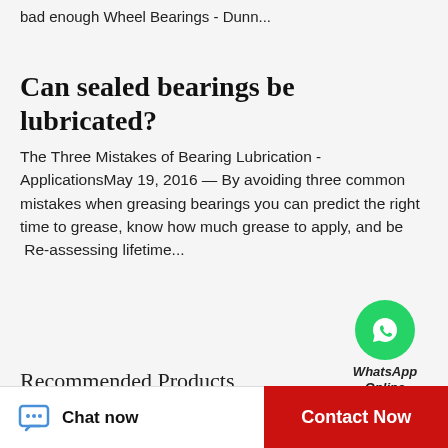bad enough Wheel Bearings - Dunn...
Can sealed bearings be lubricated?
The Three Mistakes of Bearing Lubrication - ApplicationsMay 19, 2016 — By avoiding three common mistakes when greasing bearings you can predict the right time to grease, know how much grease to apply, and be Re-assessing lifetime...
[Figure (logo): WhatsApp green circle icon with phone handset]
WhatsApp Online
Recommended Products
[Figure (photo): Photo of a mechanical bearing component, small cam follower or needle roller bearing on dark background]
[Figure (photo): Photo of a larger wheel bearing or insert bearing unit, metallic, on white background]
Chat now
Contact Now